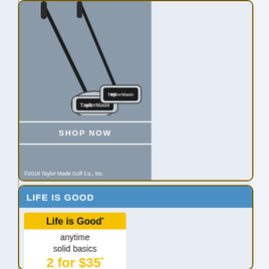[Figure (photo): TaylorMade golf irons/clubs on a gray background with a SHOP NOW button and copyright text]
SHOP NOW
©2018 Taylor Made Golf Co., Inc.
LIFE IS GOOD
[Figure (photo): Life is Good brand ad: yellow logo bar, anytime solid basics, 2 for $35*, SHOP NOW link]